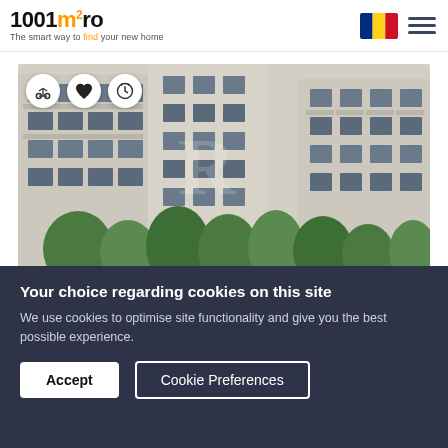1001m2.ro — The smart way to find your new home
[Figure (photo): Aerial/exterior photo of modern apartment complex buildings with balconies and landscaped courtyard with trees. Three circular icon buttons overlaid at top left: scales/compare, heart/favorite, and timer/history icons.]
Your choice regarding cookies on this site
We use cookies to optimise site functionality and give you the best possible experience.
Accept | Cookie Preferences